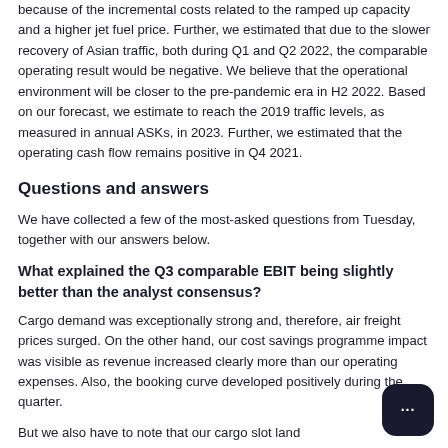because of the incremental costs related to the ramped up capacity and a higher jet fuel price. Further, we estimated that due to the slower recovery of Asian traffic, both during Q1 and Q2 2022, the comparable operating result would be negative. We believe that the operational environment will be closer to the pre-pandemic era in H2 2022. Based on our forecast, we estimate to reach the 2019 traffic levels, as measured in annual ASKs, in 2023. Further, we estimated that the operating cash flow remains positive in Q4 2021.
Questions and answers
We have collected a few of the most-asked questions from Tuesday, together with our answers below.
What explained the Q3 comparable EBIT being slightly better than the analyst consensus?
Cargo demand was exceptionally strong and, therefore, air freight prices surged. On the other hand, our cost savings programme impact was visible as revenue increased clearly more than our operating expenses. Also, the booking curve developed positively during the quarter.
But we also have to note that our cargo slot land